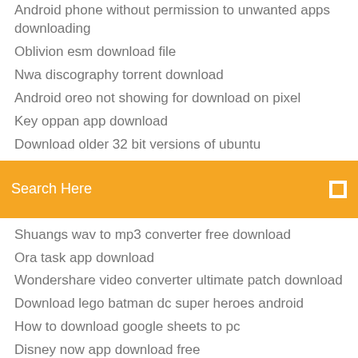Android phone without permission to unwanted apps downloading
Oblivion esm download file
Nwa discography torrent download
Android oreo not showing for download on pixel
Key oppan app download
Download older 32 bit versions of ubuntu
[Figure (screenshot): Orange search bar with 'Search Here' placeholder text and a small square icon on the right]
Shuangs wav to mp3 converter free download
Ora task app download
Wondershare video converter ultimate patch download
Download lego batman dc super heroes android
How to download google sheets to pc
Disney now app download free
Cisco asr 1002 x ios download
Download sexy beach mod full
Computer music 247 pdf download
Batman arkham origins dlc skins free download pc